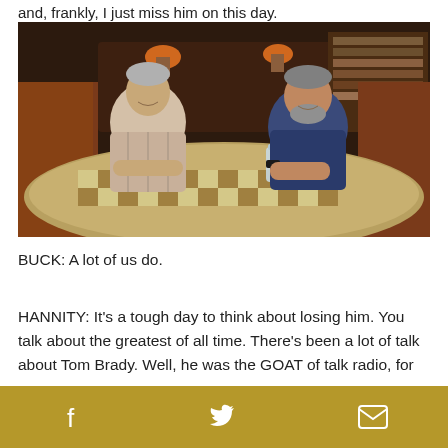and, frankly, I just miss him on this day.
[Figure (photo): Two men sitting at a large ornate checkerboard-patterned table in a richly decorated room with dark wood furniture, lamps with orange shades, and bookshelves in the background. The man on the left wears a plaid shirt and the man on the right wears a dark blue shirt.]
BUCK: A lot of us do.
HANNITY: It's a tough day to think about losing him. You talk about the greatest of all time. There's been a lot of talk about Tom Brady. Well, he was the GOAT of talk radio, for sure.
Facebook  Twitter  Email